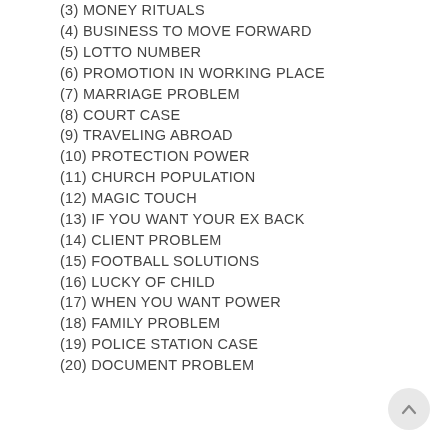(3) MONEY RITUALS
(4) BUSINESS TO MOVE FORWARD
(5) LOTTO NUMBER
(6) PROMOTION IN WORKING PLACE
(7) MARRIAGE PROBLEM
(8) COURT CASE
(9) TRAVELING ABROAD
(10) PROTECTION POWER
(11) CHURCH POPULATION
(12) MAGIC TOUCH
(13) IF YOU WANT YOUR EX BACK
(14) CLIENT PROBLEM
(15) FOOTBALL SOLUTIONS
(16) LUCKY OF CHILD
(17) WHEN YOU WANT POWER
(18) FAMILY PROBLEM
(19) POLICE STATION CASE
(20) DOCUMENT PROBLEM